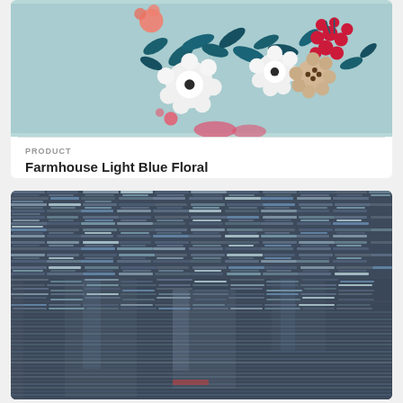[Figure (photo): Floral fabric pattern with light blue/teal background, featuring white flowers, dark teal leaves, pink/red berries and pink accents - Farmhouse Light Blue Floral product image]
PRODUCT
Farmhouse Light Blue Floral
$11.99
[Figure (photo): Abstract woven fabric pattern with dark navy/blue-gray tones, featuring horizontal stripe texture in a basket-weave or stacked brick-like arrangement with subtle color variations]